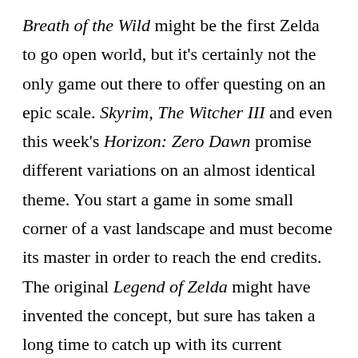Breath of the Wild might be the first Zelda to go open world, but it's certainly not the only game out there to offer questing on an epic scale. Skyrim, The Witcher III and even this week's Horizon: Zero Dawn promise different variations on an almost identical theme. You start a game in some small corner of a vast landscape and must become its master in order to reach the end credits. The original Legend of Zelda might have invented the concept, but sure has taken a long time to catch up with its current incarnation.

So, what makes Breath of the Wild so special compared to all those games it's cribbed from? In a